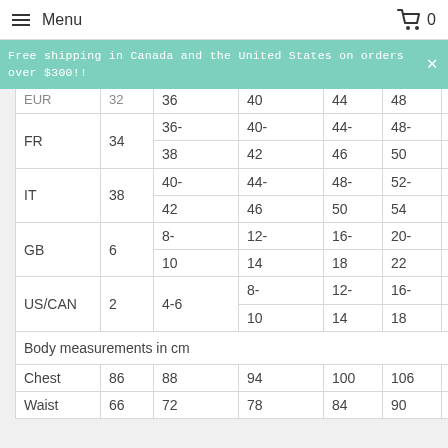Menu  0
Free shipping in Canada and the United States on orders over $300!!
|  | XS | S | M | L | XL | XXL |
| --- | --- | --- | --- | --- | --- | --- |
| EUR | 32 | 36
36-38 | 40
40-42 | 44
44-46 | 48
48-50 | 52
52-54 |
| FR | 34 | 36-
38 | 40-
42 | 44-
46 | 48-
50 | 52-
54 |
| IT | 38 | 40-
42 | 44-
46 | 48-
50 | 52-
54 | 56-
58 |
| GB | 6 | 8-
10 | 12-
14 | 16-
18 | 20-
22 | 24-
25 |
| US/CAN | 2 | 4-6 | 8-
10 | 12-
14 | 16-
18 | 20-
22 |
| Body measurements in cm |  |  |  |  |  |  |
| Chest | 86 | 88 | 94 | 100 | 106 | 112 |
| Waist | 66 | 72 | 78 | 84 | 90 | 96 |